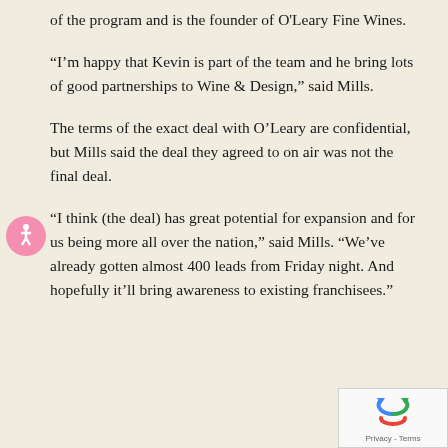of the program and is the founder of O'Leary Fine Wines.
“I'm happy that Kevin is part of the team and he bring lots of good partnerships to Wine & Design,” said Mills.
The terms of the exact deal with O’Leary are confidential, but Mills said the deal they agreed to on air was not the final deal.
“I think (the deal) has great potential for expansion and for us being more all over the nation,” said Mills. “We’ve already gotten almost 400 leads from Friday night. And hopefully it’ll bring awareness to existing franchisees.”
[Figure (other): Accessibility icon - pink circle with white person/wheelchair symbol]
[Figure (other): Google reCAPTCHA badge with Privacy and Terms links]